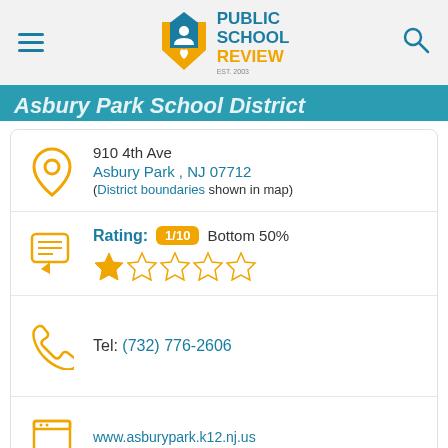Public School Review
Asbury Park School District
910 4th Ave
Asbury Park , NJ 07712
(District boundaries shown in map)
Rating: 1/10 Bottom 50%
Tel: (732) 776-2606
www.asburypark.k12.nj.us